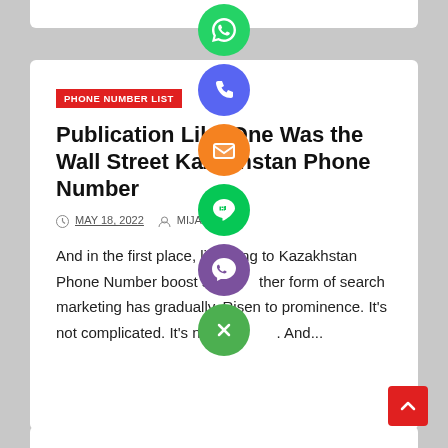[Figure (screenshot): Website page snippet showing a blog article card with social sharing icons (WhatsApp, phone, email, LINE, Viber, close) overlaid as a vertical column of circles in the center.]
PHONE NUMBER LIST
Publication Like One Was the Wall Street Kazakhstan Phone Number
MAY 18, 2022   MIJA...KUL
And in the first place, link building to Kazakhstan Phone Number boost se...ther form of search marketing has gradually. Risen to prominence. It's not complicated. It's not tec...And...